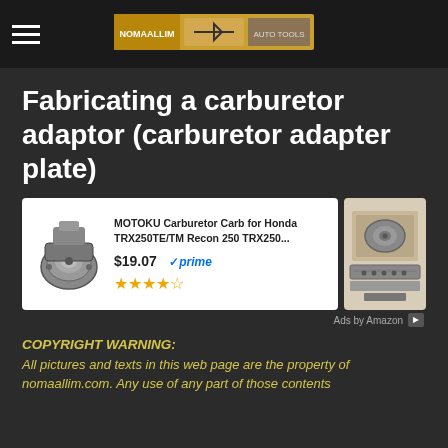nomaallim.com header with logo
Fabricating a carburetor adaptor (carburetor adapter plate)
[Figure (other): Amazon ad unit showing MOTOKU Carburetor Carb for Honda TRX250TE/TM Recon 250 TRX250... priced at $19.07 with Prime badge and 4.5 star rating, plus a second smaller ad card with carburetor image]
Ads by Amazon
COPYRIGHT WARNING:
All pictures and texts in this web page are the property of nomaallim.com. Any use of any part of those contents